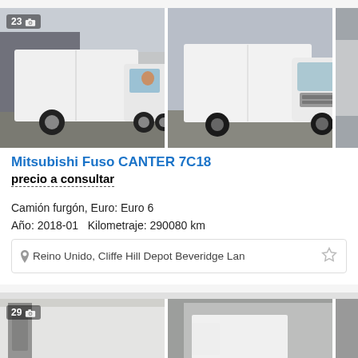[Figure (photo): Two photos of a white Mitsubishi Fuso Canter 7C18 box truck side by side, with a partial third photo visible. First photo shows left side view, has badge '23' with camera icon.]
Mitsubishi Fuso CANTER 7C18
precio a consultar
Camión furgón, Euro: Euro 6
Año: 2018-01   Kilometraje: 290080 km
Reino Unido, Cliffe Hill Depot Beveridge Lan
[Figure (photo): Two photos of another white box truck/van partially visible at the bottom of the page. First photo has badge '29' with camera icon.]